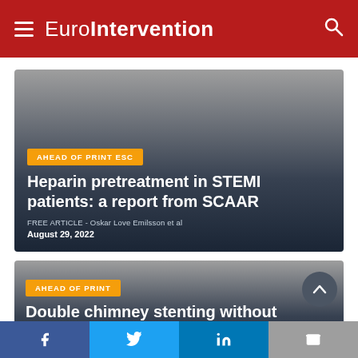EuroIntervention
[Figure (screenshot): Article card with dark gradient background; orange badge reading 'AHEAD OF PRINT ESC'; title 'Heparin pretreatment in STEMI patients: a report from SCAAR'; author 'FREE ARTICLE - Oskar Love Emilsson et al'; date 'August 29, 2022']
Heparin pretreatment in STEMI patients: a report from SCAAR
FREE ARTICLE - Oskar Love Emilsson et al
August 29, 2022
[Figure (screenshot): Article card with dark gradient background; orange badge reading 'AHEAD OF PRINT'; partial title 'Double chimney stenting without contrast during transcatheter']
Double chimney stenting without contrast during transcatheter
Social sharing bar: Facebook, Twitter, LinkedIn, Email